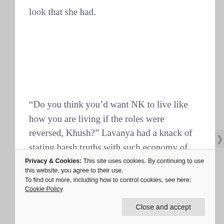look that she had.
“Do you think you’d want NK to live like how you are living if the roles were reversed, Khush?” Lavanya had a knack of stating harsh truths with such economy of words, thought Khushi.
Privacy & Cookies: This site uses cookies. By continuing to use this website, you agree to their use.
To find out more, including how to control cookies, see here: Cookie Policy